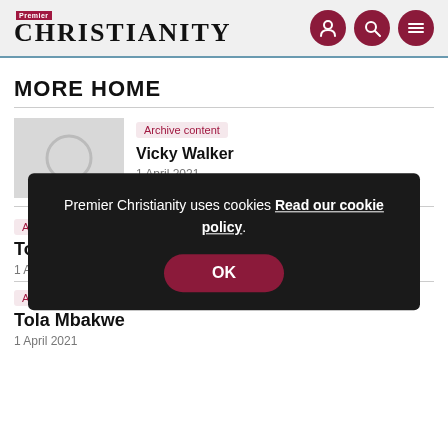Premier Christianity
MORE HOME
Archive content
Vicky Walker
1 April 2021
Archive content
To [truncated]
1 A[truncated]
A[truncated]
Tola Mbakwe
1 April 2021
Premier Christianity uses cookies Read our cookie policy.
OK